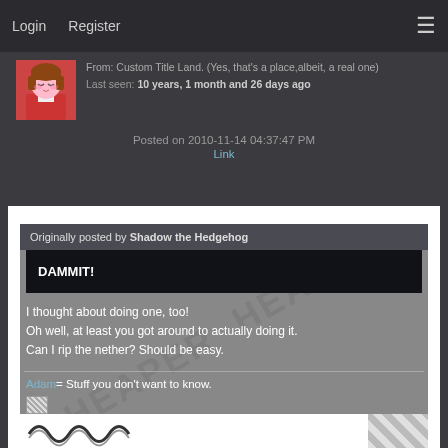Login   Register
From: Custom Title Land. (Yes, that's a place,albeit, a real one)
Last seen: 10 years, 1 month and 26 days ago
Posted on 2010-11-14 04:37:47 PM
Link
Originally posted by Shadow the Hedgehog
DAMMIT!
I thought about doing one, too!
Oh well, at least you got around to actually doing it.
Can I rip the nether? Should be easy.
Adam= Stuff you don't want to know.